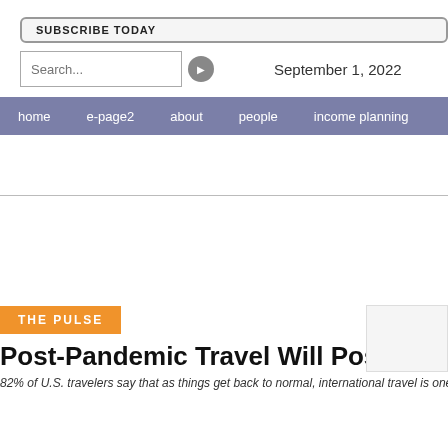SUBSCRIBE TODAY
Search...   September 1, 2022
home   e-page2   about   people   income planning
THE PULSE
Post-Pandemic Travel Will Pose Challenges Ol
82% of U.S. travelers say that as things get back to normal, international travel is one of t